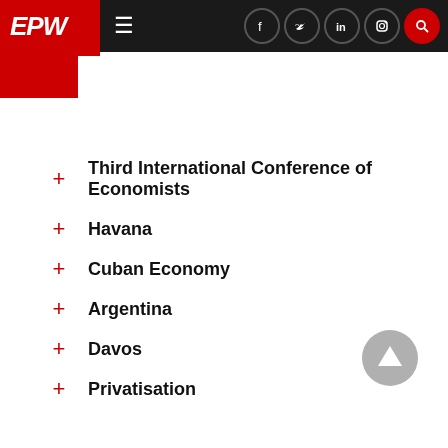EPW
Third International Conference of Economists
Havana
Cuban Economy
Argentina
Davos
Privatisation